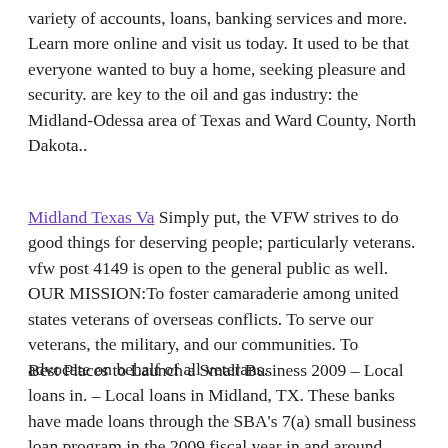variety of accounts, loans, banking services and more. Learn more online and visit us today. It used to be that everyone wanted to buy a home, seeking pleasure and security. are key to the oil and gas industry: the Midland-Odessa area of Texas and Ward County, North Dakota..
Midland Texas Va Simply put, the VFW strives to do good things for deserving people; particularly veterans. vfw post 4149 is open to the general public as well. OUR MISSION:To foster camaraderie among united states veterans of overseas conflicts. To serve our veterans, the military, and our communities. To advocate on behalf of all veterans.
Best Places to Launch a Small Business 2009 – Local loans in. – Local loans in Midland, TX. These banks have made loans through the SBA's 7(a) small business loan program in the 2009 fiscal year in and around